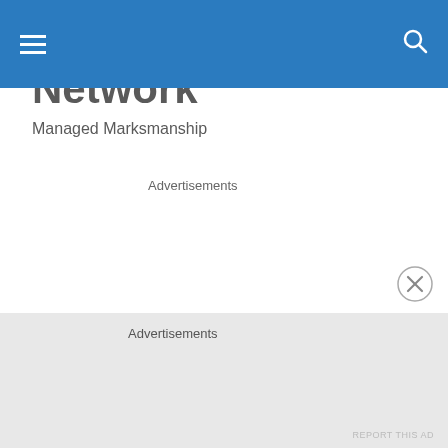Firearm User Network — navigation header bar with hamburger menu and search icon
Firearm User Network
Managed Marksmanship
Advertisements
Advertisements
REPORT THIS AD